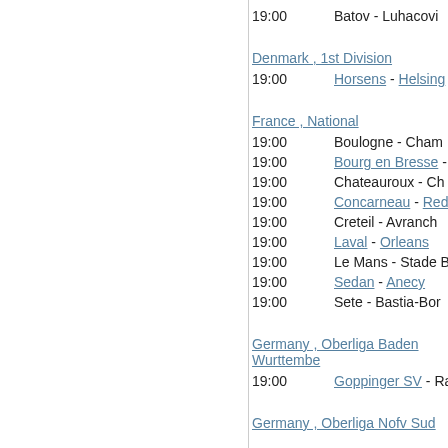19:00   Batov - Luhacovi
Denmark , 1st Division
19:00   Horsens - Helsing
France , National
19:00   Boulogne - Cham
19:00   Bourg en Bresse - Ville
19:00   Chateauroux - Ch
19:00   Concarneau - Red
19:00   Creteil - Avranch
19:00   Laval - Orleans
19:00   Le Mans - Stade Bri
19:00   Sedan - Anecy
19:00   Sete - Bastia-Bor
Germany , Oberliga Baden Wurttembe
19:00   Goppinger SV - Rave
Germany , Oberliga Nofv Sud